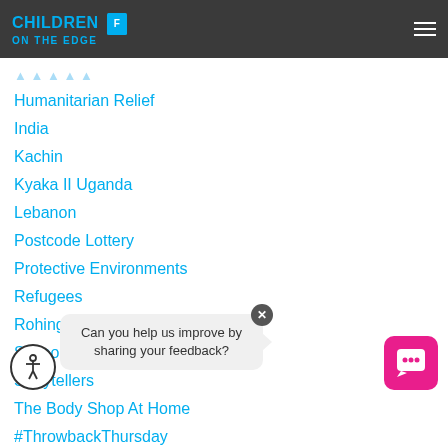CHILDREN ON THE EDGE
Humanitarian Relief
India
Kachin
Kyaka II Uganda
Lebanon
Postcode Lottery
Protective Environments
Refugees
Rohingya
Schools
Storytellers
The Body Shop At Home
#ThrowbackThursday
Uganda
Volunteer